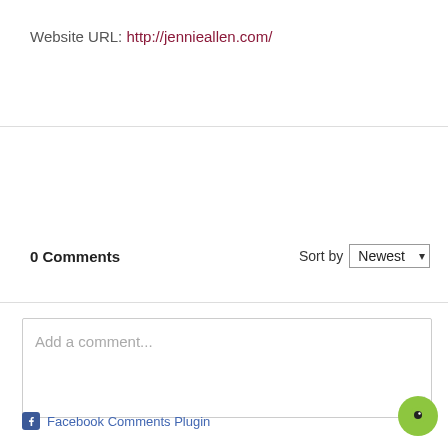Website URL: http://jennieallen.com/
0 Comments
Sort by Newest
[Figure (screenshot): Comment input text box with placeholder text 'Add a comment...']
Facebook Comments Plugin